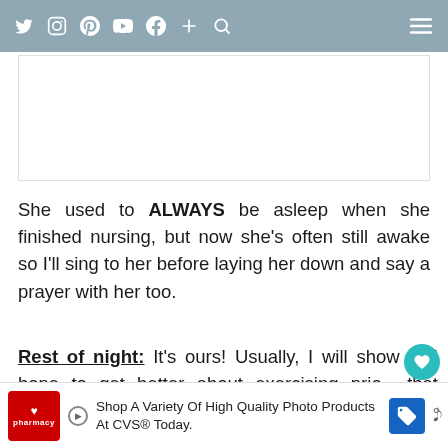Navigation bar with social icons (Twitter, Instagram, Pinterest, YouTube, Facebook, Plus, Search) and hamburger menu
[Figure (other): White advertisement placeholder box]
She used to ALWAYS be asleep when she finished nursing, but now she's often still awake so I'll sing to her before laying her down and say a prayer with her too.
Rest of night: It's ours! Usually, I will show… hope to get better about exercising prior… that shower! We'll typically watch a s… together while we have a snack.
[Figure (other): CVS Pharmacy advertisement: Shop A Variety Of High Quality Photo Products At CVS® Today.]